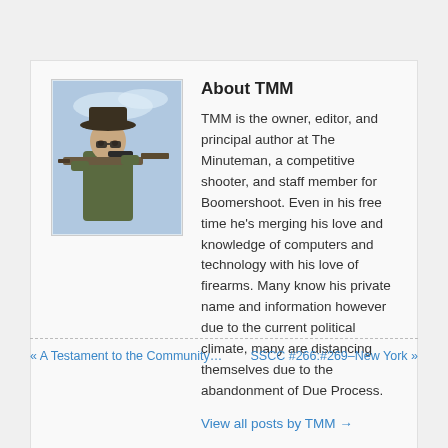About TMM
[Figure (photo): Photo of TMM aiming a rifle, wearing a hat, outdoors with sky in background]
TMM is the owner, editor, and principal author at The Minuteman, a competitive shooter, and staff member for Boomershoot. Even in his free time he's merging his love and knowledge of computers and technology with his love of firearms. Many know his private name and information however due to the current political climate, many are distancing themselves due to the abandonment of Due Process.
View all posts by TMM →
« A Testament to the Community…    SSCC #266:#269–New York »